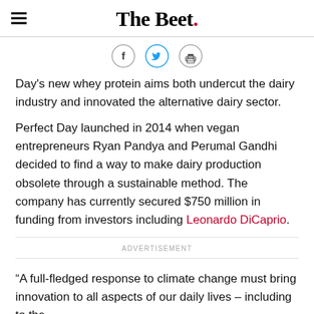The Beet.
[Figure (other): Social share icons: Facebook, Twitter, Print]
Day's new whey protein aims both undercut the dairy industry and innovated the alternative dairy sector.
Perfect Day launched in 2014 when vegan entrepreneurs Ryan Pandya and Perumal Gandhi decided to find a way to make dairy production obsolete through a sustainable method. The company has currently secured $750 million in funding from investors including Leonardo DiCaprio.
ADVERTISEMENT
“A full-fledged response to climate change must bring innovation to all aspects of our daily lives – including to the